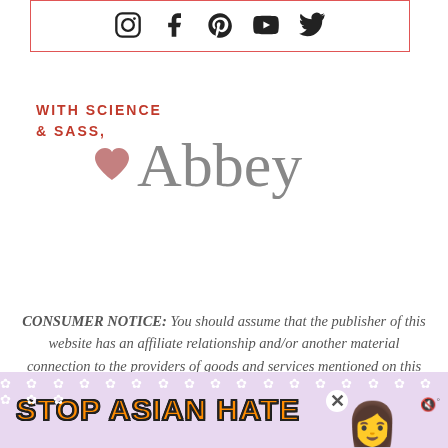[Figure (other): Social media icons in a red-bordered box: Instagram, Facebook, Pinterest, YouTube, Twitter]
[Figure (other): Signature block reading 'WITH SCIENCE & SASS,' with a pink heart and cursive 'Abbey' script]
CONSUMER NOTICE: You should assume that the publisher of this website has an affiliate relationship and/or another material connection to the providers of goods and services mentioned on this website and may be compensated when you purchase from a provider. You should always perform due diligence before buying goods or services from anyone via the Internet or offline
[Figure (other): Ad banner with floral background, text 'STOP ASIAN HATE' in orange bold letters, anime character, and close button]